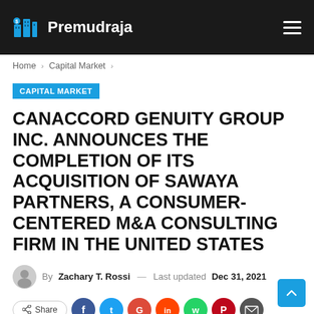Premudraja
Home > Capital Market >
CAPITAL MARKET
CANACCORD GENUITY GROUP INC. ANNOUNCES THE COMPLETION OF ITS ACQUISITION OF SAWAYA PARTNERS, A CONSUMER-CENTERED M&A CONSULTING FIRM IN THE UNITED STATES
By Zachary T. Rossi — Last updated Dec 31, 2021